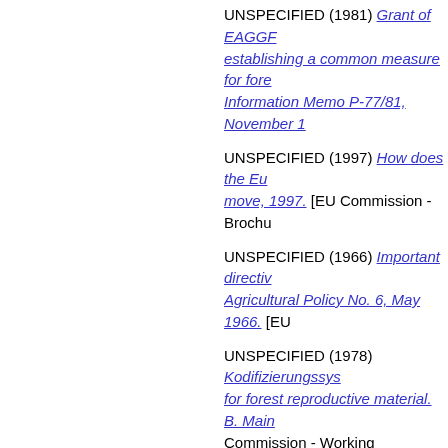UNSPECIFIED (1981) Grant of EAGGF establishing a common measure for fore... Information Memo P-77/81, November 1.
UNSPECIFIED (1997) How does the Eu... move, 1997. [EU Commission - Brochu...
UNSPECIFIED (1966) Important directiv... Agricultural Policy No. 6, May 1966. [EU...
UNSPECIFIED (1978) Kodifizierungssys... for forest reproductive material. B. Main... Commission - Working Document]
UNSPECIFIED (1978) Kodifizierungssys... Herkünfte, Artikelqualitätskatalog, Baum... Catalogue of Poplars of commercial valu... on agriculture 58, December 1978. [EU...
Velay, Louis and Klose, Franz and Bellu... des terres marginales = Afforestation of... Commission - Working Document]
UNSPECIFIED (1983) MOTION FOR A...